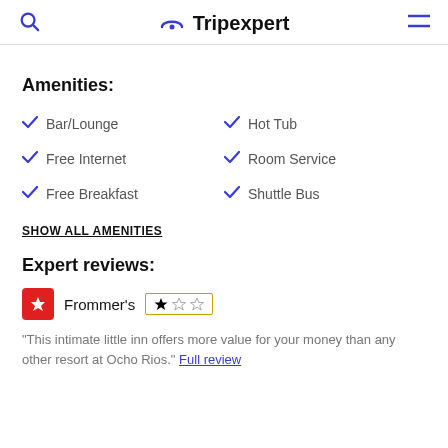Tripexpert
Amenities:
Bar/Lounge
Hot Tub
Free Internet
Room Service
Free Breakfast
Shuttle Bus
SHOW ALL AMENITIES
Expert reviews:
Frommer's
"This intimate little inn offers more value for your money than any other resort at Ocho Rios." Full review